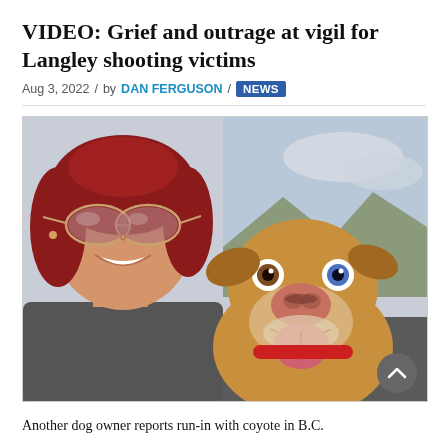VIDEO: Grief and outrage at vigil for Langley shooting victims
Aug 3, 2022 / by DAN FERGUSON / NEWS
[Figure (photo): A woman with red hair and aviator sunglasses smiling in a car selfie next to a brown dog with heterochromia (one brown eye, one blue eye) wearing a red collar, with its tongue out.]
Another dog owner reports run-in with coyote in B.C.